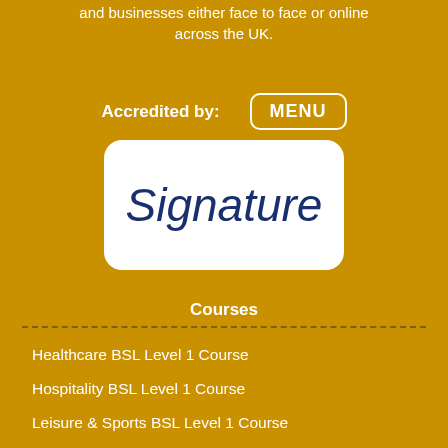and businesses either face to face or online across the UK.
Accredited by:
[Figure (logo): MENU button — rounded rectangle with white border and white text reading MENU]
[Figure (logo): Signature logo — white rounded rectangle containing the word 'Signature' in dark navy italic script font]
Courses
Healthcare BSL Level 1 Course
Hospitality BSL Level 1 Course
Leisure & Sports BSL Level 1 Course